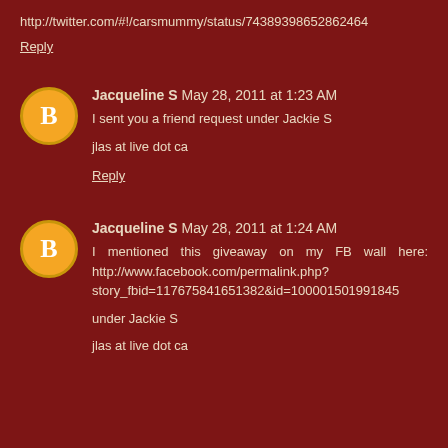http://twitter.com/#!/carsmummy/status/74389398652862464
Reply
Jacqueline S May 28, 2011 at 1:23 AM
I sent you a friend request under Jackie S

jlas at live dot ca
Reply
Jacqueline S May 28, 2011 at 1:24 AM
I mentioned this giveaway on my FB wall here: http://www.facebook.com/permalink.php?story_fbid=117675841651382&id=100001501991845

under Jackie S

jlas at live dot ca